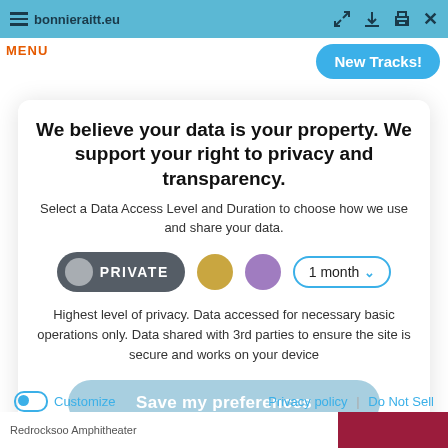bonnieraitt.eu
We believe your data is your property. We support your right to privacy and transparency.
Select a Data Access Level and Duration to choose how we use and share your data.
PRIVATE | 1 month
Highest level of privacy. Data accessed for necessary basic operations only. Data shared with 3rd parties to ensure the site is secure and works on your device
Save my preferences
Customize | Privacy policy | Do Not Sell
Redrocksoo Amphitheater